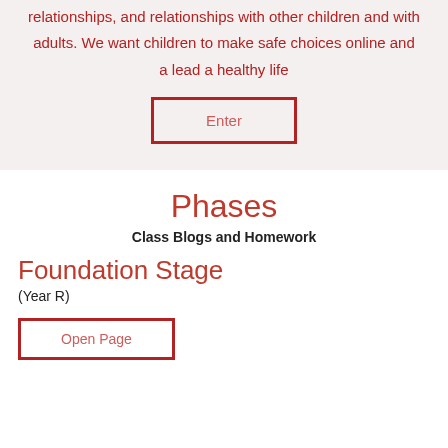relationships, and relationships with other children and with adults. We want children to make safe choices online and a lead a healthy life
[Figure (other): Button with red border labeled 'Enter']
Phases
Class Blogs and Homework
Foundation Stage
(Year R)
[Figure (other): Button with red border labeled 'Open Page']